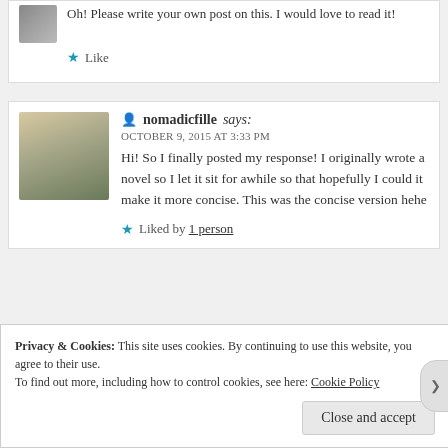Oh! Please write your own post on this. I would love to read it!
★ Like
nomadicfille says:
OCTOBER 9, 2015 AT 3:33 PM
Hi! So I finally posted my response! I originally wrote a novel so I let it sit for awhile so that hopefully I could it make it more concise. This was the concise version hehe
★ Liked by 1 person
Privacy & Cookies: This site uses cookies. By continuing to use this website, you agree to their use.
To find out more, including how to control cookies, see here: Cookie Policy
Close and accept